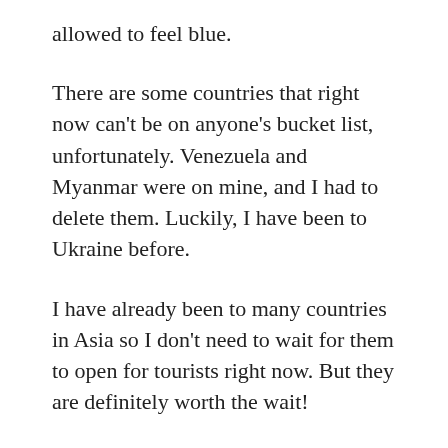allowed to feel blue.
There are some countries that right now can't be on anyone's bucket list, unfortunately. Venezuela and Myanmar were on mine, and I had to delete them. Luckily, I have been to Ukraine before.
I have already been to many countries in Asia so I don't need to wait for them to open for tourists right now. But they are definitely worth the wait!
The world is a “little” upside right now. I will let you define “little,” and I encourage all TA’s to continue promoting travel, because despite all, we all need to travel to discover our best selves